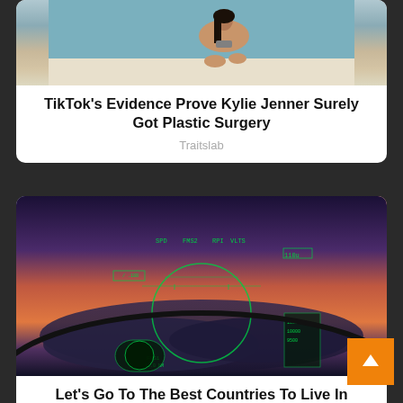[Figure (photo): Partial view of a person in a bikini lying on what appears to be a boat deck]
TikTok's Evidence Prove Kylie Jenner Surely Got Plastic Surgery
Traitslab
[Figure (photo): View from cockpit of an aircraft at dusk/night showing HUD (heads-up display) with green instrument data overlaid on a purple and orange sky with clouds below]
Let's Go To The Best Countries To Live In
Brainberries